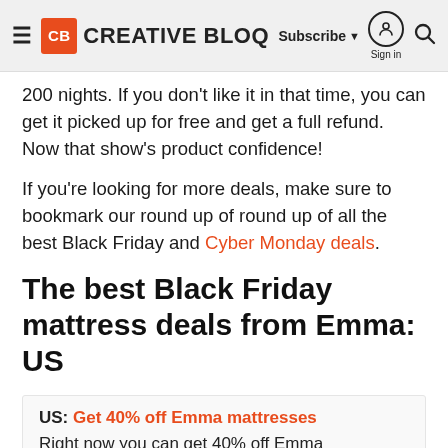Creative Bloq — Subscribe | Sign in | Search
200 nights. If you don't like it in that time, you can get it picked up for free and get a full refund. Now that show's product confidence!
If you're looking for more deals, make sure to bookmark our round up of round up of all the best Black Friday and Cyber Monday deals.
The best Black Friday mattress deals from Emma: US
US: Get 40% off Emma mattresses
Right now you can get 40% off Emma mattresses using the code EMMARE